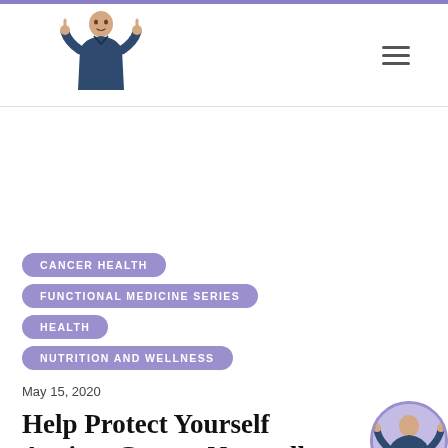CANCER HEALTH
FUNCTIONAL MEDICINE SERIES
HEALTH
NUTRITION AND WELLNESS
May 15, 2020
Help Protect Yourself Against Cancer Naturally